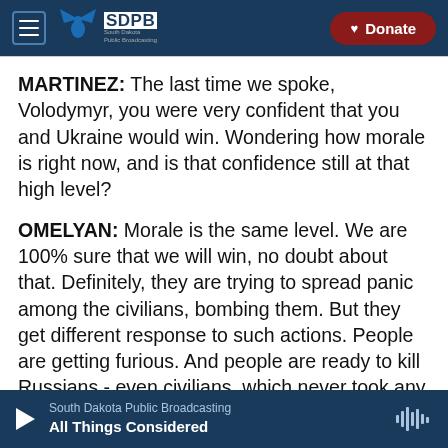SDPB South Dakota Public Broadcasting — Donate
MARTINEZ: The last time we spoke, Volodymyr, you were very confident that you and Ukraine would win. Wondering how morale is right now, and is that confidence still at that high level?
OMELYAN: Morale is the same level. We are 100% sure that we will win, no doubt about that. Definitely, they are trying to spread panic among the civilians, bombing them. But they get different response to such actions. People are getting furious. And people are ready to kill Russians - even civilians, which never took any kind of gun in their
South Dakota Public Broadcasting — All Things Considered